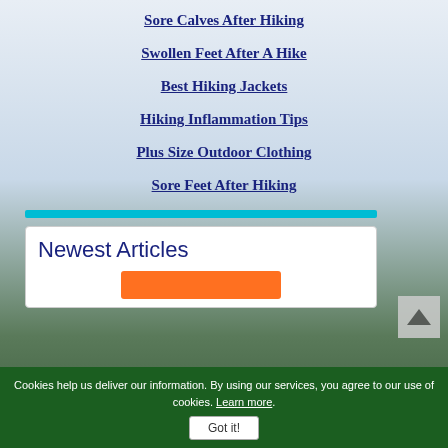Sore Calves After Hiking
Swollen Feet After A Hike
Best Hiking Jackets
Hiking Inflammation Tips
Plus Size Outdoor Clothing
Sore Feet After Hiking
Newest Articles
Cookies help us deliver our information. By using our services, you agree to our use of cookies. Learn more. Got it!